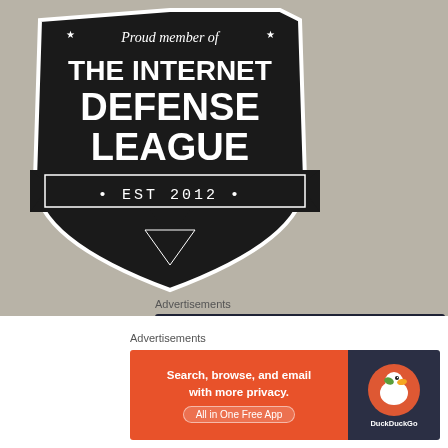[Figure (logo): Internet Defense League badge/shield logo. Black shield with text: 'Proud member of THE INTERNET DEFENSE LEAGUE • EST 2012 •', with stars, on a tan/gray background.]
Advertisements
[Figure (logo): Sensei advertisement banner on dark navy background with a white circle icon containing a tree/bonsai silhouette and the word 'sensei' in white.]
[Figure (other): Close/X button circle (gray with X)]
Advertisements
[Figure (screenshot): DuckDuckGo advertisement. Left orange section says 'Search, browse, and email with more privacy. All in One Free App'. Right dark section shows DuckDuckGo duck logo and brand name.]